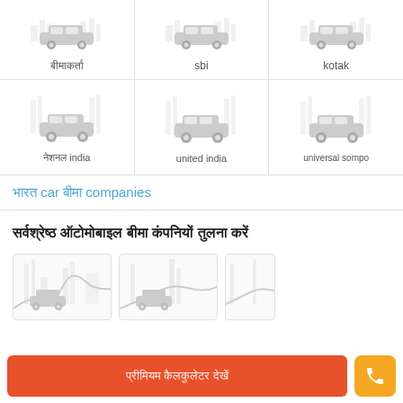[Figure (illustration): Row of car insurance provider logos with car icons: Hindi text, sbi, kotak]
[Figure (illustration): Row of car insurance provider logos with car icons: Hindi+india, united india, universal sompo]
भारत car बीमा companies
सर्वश्रेष्ठ ऑटोमोबाइल बीमा कंपनियों तुलना करें
[Figure (illustration): Partial row of insurance company cards with building/car illustrations]
प्रीमियम कैलकुलेटर देखें
[Figure (illustration): Phone call button icon]